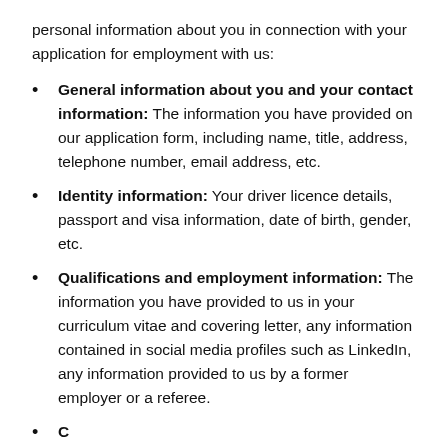personal information about you in connection with your application for employment with us:
General information about you and your contact information: The information you have provided on our application form, including name, title, address, telephone number, email address, etc.
Identity information: Your driver licence details, passport and visa information, date of birth, gender, etc.
Qualifications and employment information: The information you have provided to us in your curriculum vitae and covering letter, any information contained in social media profiles such as LinkedIn, any information provided to us by a former employer or a referee.
Compensation and bonus information: